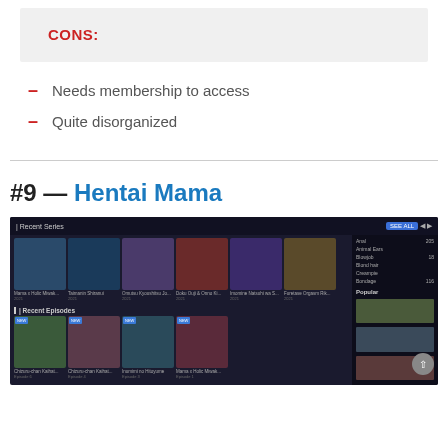CONS:
Needs membership to access
Quite disorganized
#9 — Hentai Mama
[Figure (screenshot): Screenshot of the Hentai Mama website showing Recent Series and Recent Episodes sections with anime thumbnails in a dark-themed layout, plus a sidebar with categories and popular titles.]